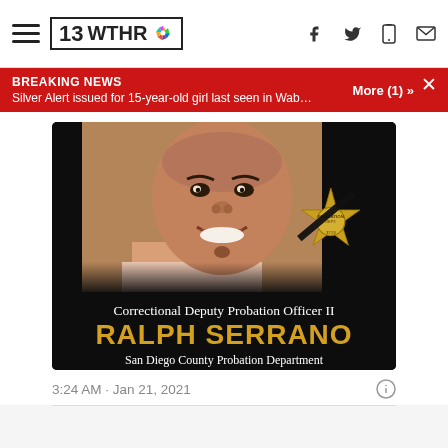13 WTHR NBC
BREAKING NEWS
Silver Alert issued for 15-year-old girl last seen in Wabash R...
More (1) »
[Figure (photo): Memorial tribute image for Correctional Deputy Probation Officer II Ralph Serrano of the San Diego County Probation Department. Shows a smiling man's photo on a dark background with a gold badge bearing a mourning band, and text reading 'Correctional Deputy Probation Officer II RALPH SERRANO San Diego County Probation Department'.]
3:24 AM · Jan 21, 2021